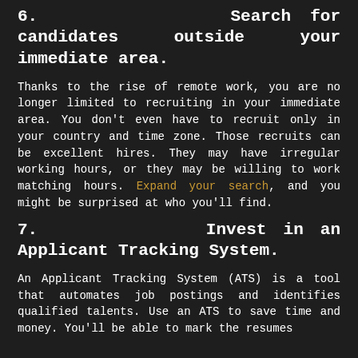6.    Search for candidates outside your immediate area.
Thanks to the rise of remote work, you are no longer limited to recruiting in your immediate area. You don't even have to recruit only in your country and time zone. Those recruits can be excellent hires. They may have irregular working hours, or they may be willing to work matching hours. Expand your search, and you might be surprised at who you'll find.
7.    Invest in an Applicant Tracking System.
An Applicant Tracking System (ATS) is a tool that automates job postings and identifies qualified talents. Use an ATS to save time and money. You'll be able to mark the resumes